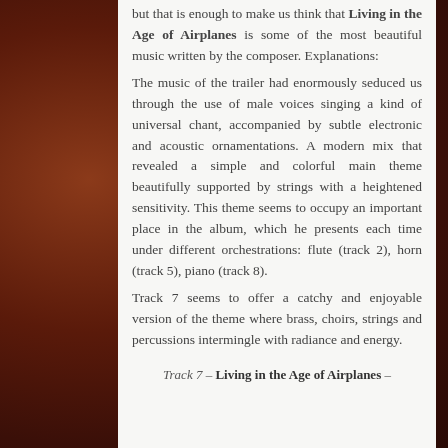but that is enough to make us think that Living in the Age of Airplanes is some of the most beautiful music written by the composer. Explanations:
The music of the trailer had enormously seduced us through the use of male voices singing a kind of universal chant, accompanied by subtle electronic and acoustic ornamentations. A modern mix that revealed a simple and colorful main theme beautifully supported by strings with a heightened sensitivity. This theme seems to occupy an important place in the album, which he presents each time under different orchestrations: flute (track 2), horn (track 5), piano (track 8).
Track 7 seems to offer a catchy and enjoyable version of the theme where brass, choirs, strings and percussions intermingle with radiance and energy.
Track 7 – Living in the Age of Airplanes –